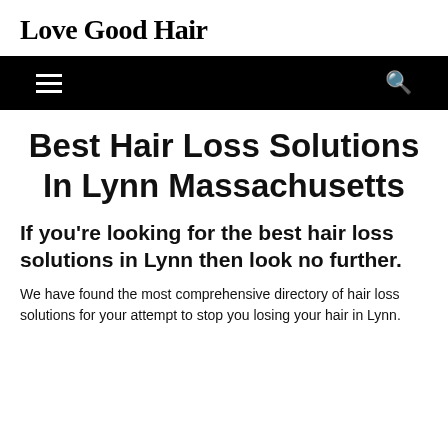Love Good Hair
Best Hair Loss Solutions In Lynn Massachusetts
If you're looking for the best hair loss solutions in Lynn then look no further.
We have found the most comprehensive directory of hair loss solutions for your attempt to stop you losing your hair in Lynn.